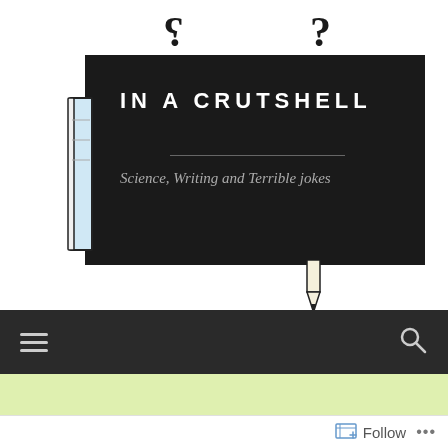[Figure (illustration): Blog header illustration: dark rectangular banner with 'IN A CRUTSHELL' title, subtitle 'Science, Writing and Terrible jokes', question marks above, book/crutch illustration on left, pencil tip below banner]
[Figure (screenshot): Navigation bar with hamburger menu icon on left and search icon on right, dark background]
The shape of knowledge:
[Figure (screenshot): Follow button with icon at bottom right of page, and ellipsis menu]